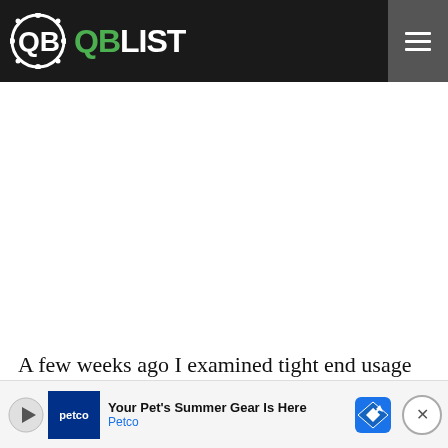QB LIST
A few weeks ago I examined tight end usage after week 1 to try and determine future potential — players that may have long term value and could become…
[Figure (other): Petco advertisement banner: 'Your Pet's Summer Gear Is Here – Petco']